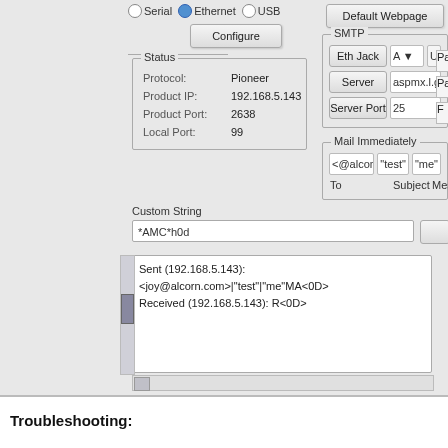[Figure (screenshot): Software configuration interface showing a network settings panel with Serial/Ethernet/USB radio buttons, a Configure button, a Status group (Protocol: Pioneer, Product IP: 192.168.5.143, Product Port: 2638, Local Port: 99), a Custom String input field with value '*AMC*h0d', a Default Webpage button, an SMTP configuration group with Eth Jack, Server, Server Port fields, a Mail Immediately group, and a log output area showing sent/received messages.]
Troubleshooting: